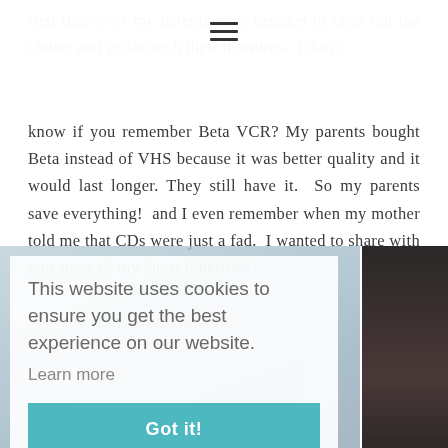☰
first time ever my parents have decided to clear out the clutter and go through their treasures.  I don't know if you remember Beta VCR? My parents bought Beta instead of VHS because it was better quality and it would last longer. They still have it.  So my parents save everything!  and I even remember when my mother told me that CDs were just a fad.  I wanted to share with you some of my latest inheritance.
[Figure (photo): A partially visible photo of a person, with a cookie consent overlay dialog on top. The overlay reads: 'This website uses cookies to ensure you get the best experience on our website. Learn more' and has a teal 'Got it!' button.]